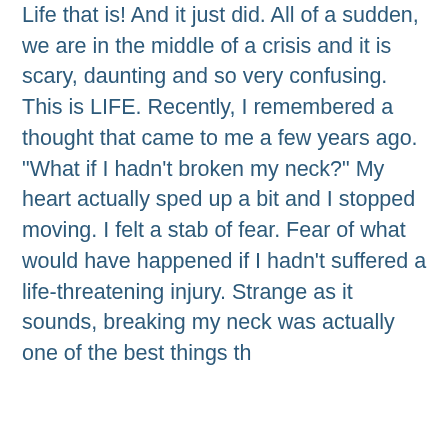Life that is! And it just did. All of a sudden, we are in the middle of a crisis and it is scary, daunting and so very confusing. This is LIFE. Recently, I remembered a thought that came to me a few years ago. “What if I hadn’t broken my neck?” My heart actually sped up a bit and I stopped moving. I felt a stab of fear. Fear of what would have happened if I hadn’t suffered a life-threatening injury. Strange as it sounds, breaking my neck was actually one of the best things th
724 views  6 comments  9 likes
[Figure (other): Light blue rectangle placeholder/image area]